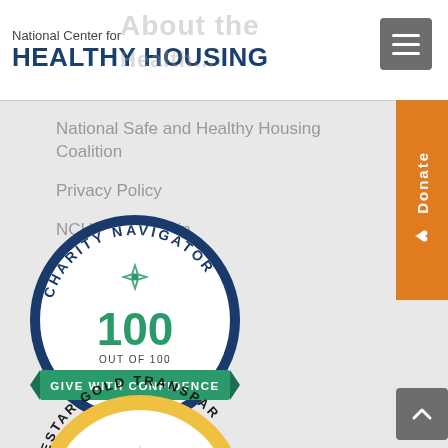National Center for HEALTHY HOUSING
National Safe and Healthy Housing Coalition
Privacy Policy
NCHH Staff Login
[Figure (logo): Charity Navigator badge: score 100 out of 100, GIVE WITH CONFIDENCE]
[Figure (logo): Guidestar Gold Transparency seal (partially visible)]